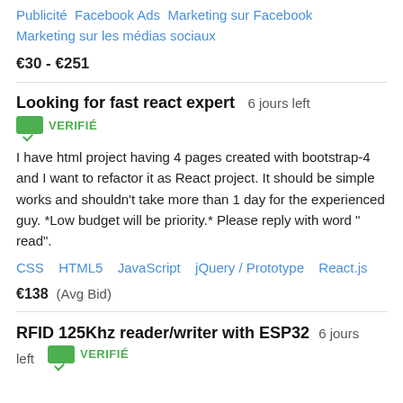Publicité   Facebook Ads   Marketing sur Facebook   Marketing sur les médias sociaux
€30 - €251
Looking for fast react expert  6 jours left
VERIFIÉ
I have html project having 4 pages created with bootstrap-4 and I want to refactor it as React project. It should be simple works and shouldn't take more than 1 day for the experienced guy. *Low budget will be priority.* Please reply with word " read".
CSS   HTML5   JavaScript   jQuery / Prototype   React.js
€138  (Avg Bid)
RFID 125Khz reader/writer with ESP32  6 jours left
VERIFIÉ